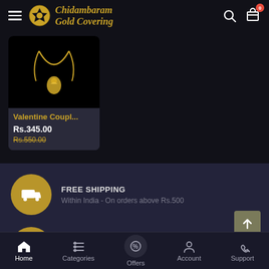Chidambaram Gold Covering
[Figure (screenshot): Product card showing a Valentine couple necklace pendant on black background]
Valentine Coupl...
Rs.345.00
Rs.550.00
FREE SHIPPING
Within India - On orders above Rs.500
INTERNATIONAL SHIPPING
to more than 186+ Countries available
Home  Categories  Offers  Account  Support